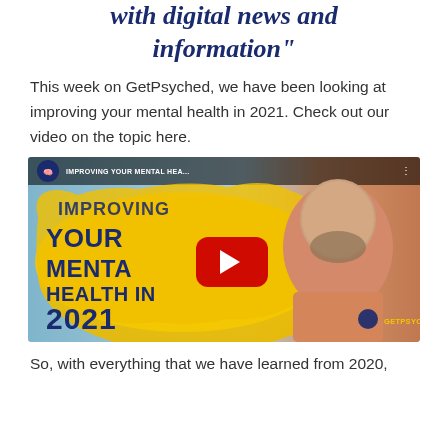with digital news and information"
This week on GetPsyched, we have been looking at improving your mental health in 2021. Check out our video on the topic here.
[Figure (screenshot): YouTube video thumbnail for 'IMPROVING YOUR MENTAL HEALTH IN 2021' by GetPsyched, showing a bald man with beard smiling, yellow paint-brush text overlay, and a red YouTube play button in the center.]
So, with everything that we have learned from 2020,